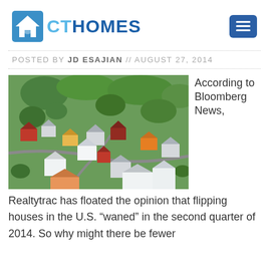CT HOMES
POSTED BY JD ESAJIAN // AUGUST 27, 2014
[Figure (photo): Aerial view of a suburban neighborhood with many houses, trees, and roads, likely in a Scandinavian country.]
According to Bloomberg News, Realtytrac has floated the opinion that flipping houses in the U.S. “waned” in the second quarter of 2014. So why might there be fewer